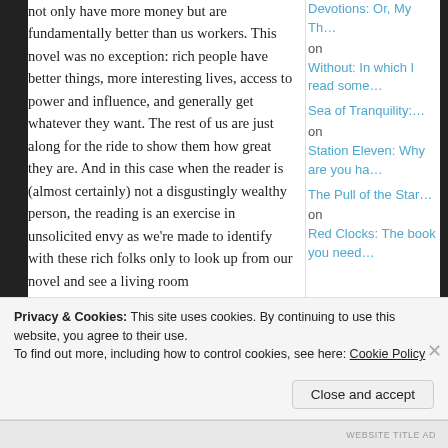not only have more money but are fundamentally better than us workers. This novel was no exception: rich people have better things, more interesting lives, access to power and influence, and generally get whatever they want. The rest of us are just along for the ride to show them how great they are. And in this case when the reader is (almost certainly) not a disgustingly wealthy person, the reading is an exercise in unsolicited envy as we're made to identify with these rich folks only to look up from our novel and see a living room
Devotions: Or, My Th… on Without: In which I read some… Sea of Tranquility:… on Station Eleven: Why are you ha… The Pull of the Star… on Red Clocks: The book you need…
Privacy & Cookies: This site uses cookies. By continuing to use this website, you agree to their use.
To find out more, including how to control cookies, see here: Cookie Policy
Close and accept